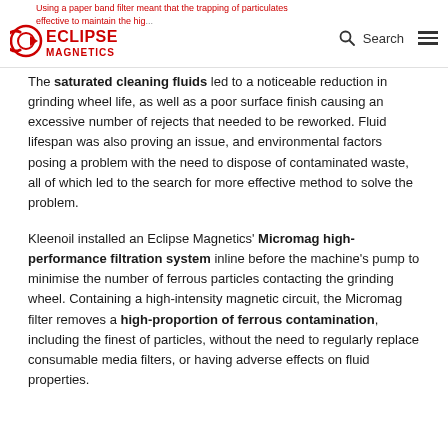Eclipse Magnetics — site navigation header with logo, search, and menu
The saturated cleaning fluids led to a noticeable reduction in grinding wheel life, as well as a poor surface finish causing an excessive number of rejects that needed to be reworked. Fluid lifespan was also proving an issue, and environmental factors posing a problem with the need to dispose of contaminated waste, all of which led to the search for more effective method to solve the problem.
Kleenoil installed an Eclipse Magnetics' Micromag high-performance filtration system inline before the machine's pump to minimise the number of ferrous particles contacting the grinding wheel. Containing a high-intensity magnetic circuit, the Micromag filter removes a high-proportion of ferrous contamination, including the finest of particles, without the need to regularly replace consumable media filters, or having adverse effects on fluid properties.